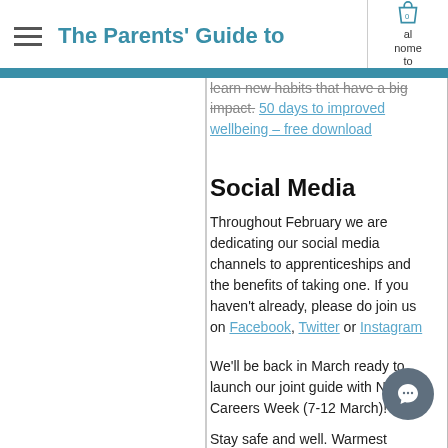The Parents' Guide to
learn new habits that have a big impact. 50 days to improved wellbeing – free download
Social Media
Throughout February we are dedicating our social media channels to apprenticeships and the benefits of taking one. If you haven't already, please do join us on Facebook, Twitter or Instagram
We'll be back in March ready to launch our joint guide with National Careers Week (7-12 March)!
Stay safe and well. Warmest